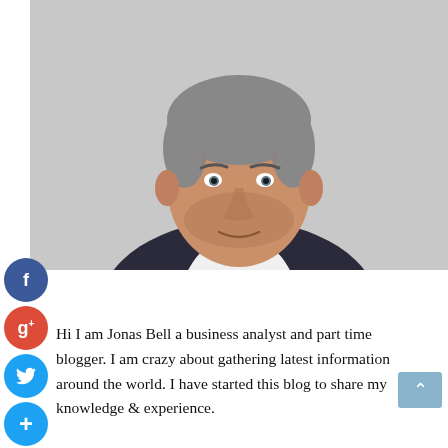[Figure (photo): Professional headshot of a middle-aged man with grey hair and stubble beard, wearing a dark blazer and white shirt, against a light grey background.]
Hi I am Jonas Bell a business analyst and part time blogger. I am crazy about gathering latest information around the world. I have started this blog to share my knowledge & experience.